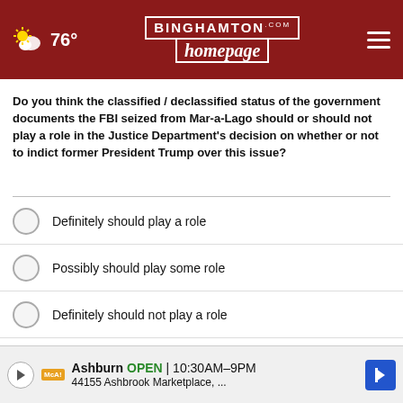76° | BINGHAMTON homepage.com
Do you think the classified / declassified status of the government documents the FBI seized from Mar-a-Lago should or should not play a role in the Justice Department's decision on whether or not to indict former President Trump over this issue?
Definitely should play a role
Possibly should play some role
Definitely should not play a role
Other / No opinion
NEXT *
* By clicking "NEXT" you agree to the following: We use cookies to track your survey answers. If you would like to continue with this survey please read and agree to the CivicScience Privacy Policy and Terms of
[Figure (infographic): Ad banner for Ashburn location: OPEN 10:30AM–9PM, 44155 Ashbrook Marketplace, ...]